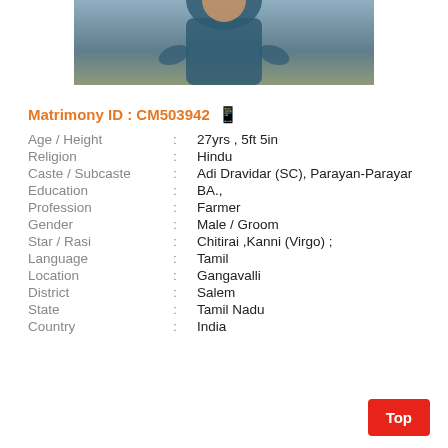[Figure (photo): Profile photo of a man wearing a dark blue t-shirt, cropped to show upper body]
Matrimony ID : CM503942
Age / Height : 27yrs , 5ft 5in
Religion : Hindu
Caste / Subcaste : Adi Dravidar (SC), Parayan-Parayar
Education : BA.,
Profession : Farmer
Gender : Male / Groom
Star / Rasi : Chitirai ,Kanni (Virgo) ;
Language : Tamil
Location : Gangavalli
District : Salem
State : Tamil Nadu
Country : India